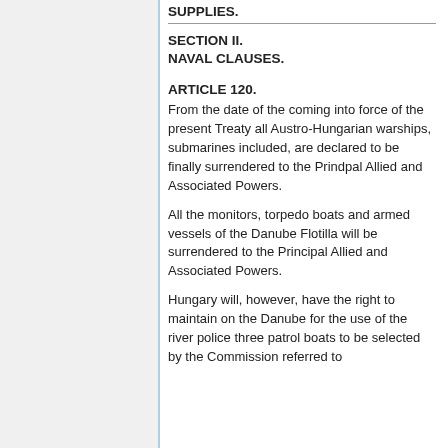SUPPLIES.
SECTION II.
NAVAL CLAUSES.
ARTICLE 120.
From the date of the coming into force of the present Treaty all Austro-Hungarian warships, submarines included, are declared to be finally surrendered to the Prindpal Allied and Associated Powers.
All the monitors, torpedo boats and armed vessels of the Danube Flotilla will be surrendered to the Principal Allied and Associated Powers.
Hungary will, however, have the right to maintain on the Danube for the use of the river police three patrol boats to be selected by the Commission referred to